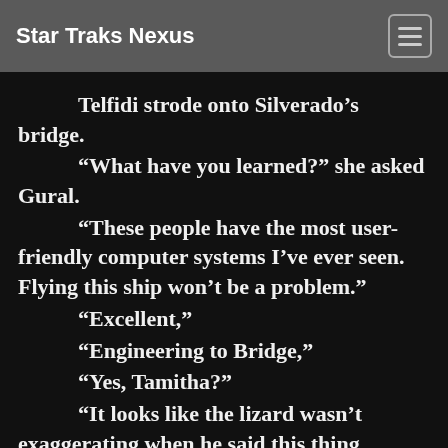Star Traks Nexus
Telfidi strode onto Silverado's bridge. “What have you learned?” she asked Gural. “These people have the most user-friendly computer systems I’ve ever seen. Flying this ship won’t be a problem.” “Excellent,” “Engineering to Bridge,” “Yes, Tamitha?” “It looks like the lizard wasn’t exaggerating when he said this thing